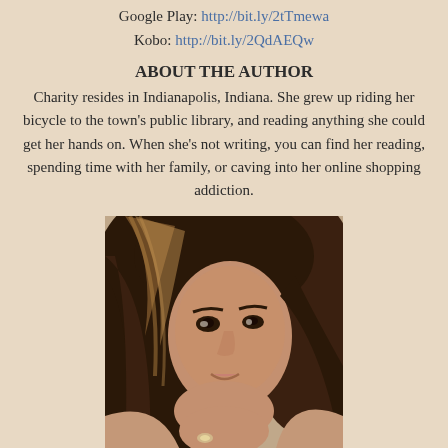Google Play: http://bit.ly/2tTmewa
Kobo: http://bit.ly/2QdAEQw
ABOUT THE AUTHOR
Charity resides in Indianapolis, Indiana. She grew up riding her bicycle to the town's public library, and reading anything she could get her hands on. When she's not writing, you can find her reading, spending time with her family, or caving into her online shopping addiction.
[Figure (photo): Author photo: a woman with long dark brown hair with highlights, smiling, chin resting on hand with a ring visible, close-up portrait shot]